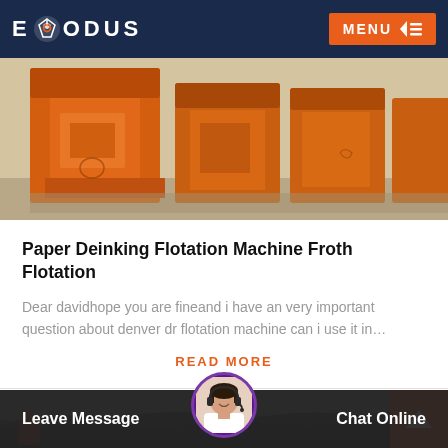EXODUS  MENU
[Figure (photo): Orange industrial flotation machine equipment outdoors]
Paper Deinking Flotation Machine Froth Flotation
Dear davidhope you are fineand i have an very important question about denver dr flotation machine can i use it in…
READ MORE
[Figure (photo): Partial outdoor industrial/mining scene with rocks, bottom strip]
Leave Message
Chat Online